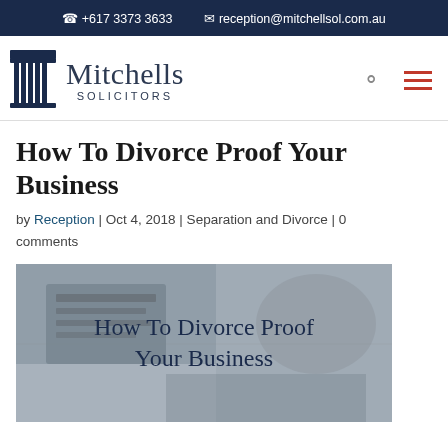+617 3373 3633  reception@mitchellsol.com.au
[Figure (logo): Mitchells Solicitors logo with pillar icon, company name and tagline]
How To Divorce Proof Your Business
by Reception | Oct 4, 2018 | Separation and Divorce | 0 comments
[Figure (photo): Grayscale photo of people working on laptops and documents with overlaid text 'How To Divorce Proof Your Business']